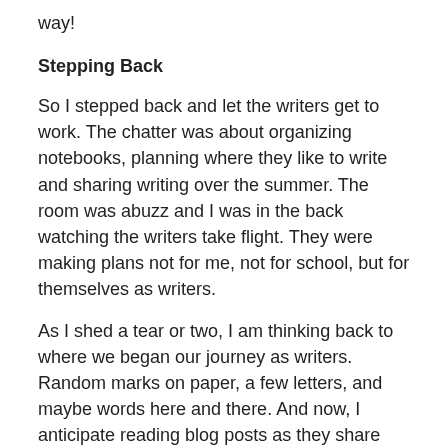way!
Stepping Back
So I stepped back and let the writers get to work. The chatter was about organizing notebooks, planning where they like to write and sharing writing over the summer. The room was abuzz and I was in the back watching the writers take flight. They were making plans not for me, not for school, but for themselves as writers.
As I shed a tear or two, I am thinking back to where we began our journey as writers. Random marks on paper, a few letters, and maybe words here and there. And now, I anticipate reading blog posts as they share stories and inspire others as they live the life of a writer. I could not be prouder.
The stage is set…now the waiting!
Deb Frazier spends her days learning alongside amazing first